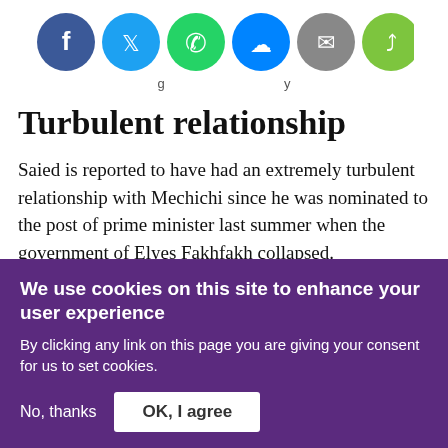[Figure (other): Social media sharing icons: Facebook (blue circle), Twitter (light blue circle), WhatsApp (green circle), Messenger (blue circle), Email (grey circle), Share (green circle)]
...g ...y
Turbulent relationship
Saied is reported to have had an extremely turbulent relationship with Mechichi since he was nominated to the post of prime minister last summer when the government of Elyes Fakhfakh collapsed.
We use cookies on this site to enhance your user experience
By clicking any link on this page you are giving your consent for us to set cookies.
No, thanks  OK, I agree